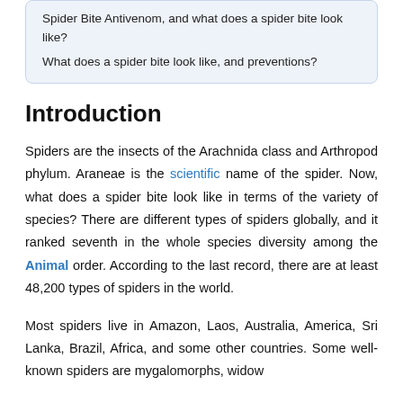Spider Bite Antivenom, and what does a spider bite look like?
What does a spider bite look like, and preventions?
Introduction
Spiders are the insects of the Arachnida class and Arthropod phylum. Araneae is the scientific name of the spider. Now, what does a spider bite look like in terms of the variety of species? There are different types of spiders globally, and it ranked seventh in the whole species diversity among the Animal order. According to the last record, there are at least 48,200 types of spiders in the world.
Most spiders live in Amazon, Laos, Australia, America, Sri Lanka, Brazil, Africa, and some other countries. Some well-known spiders are mygalomorphs, widow